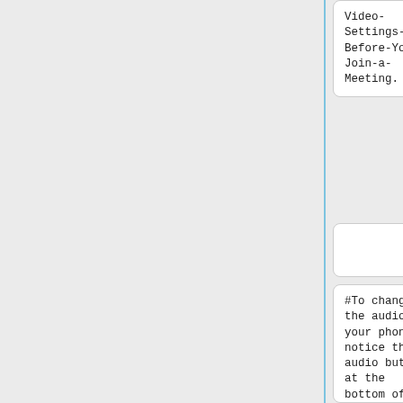Video-Settings-Before-You-Join-a-Meeting.
Video-Settings-Before-You-Join-a-Meeting.
#To change the audio to your phone, notice the audio button at the bottom of the Start/Join page. <div class="toccol ours mw-collapsible mw-collapsed"
#To change the audio to your phone, notice the audio button at the bottom of the Start/Join page. <div class="toccol ours mw-collapsible mw-collapsed"